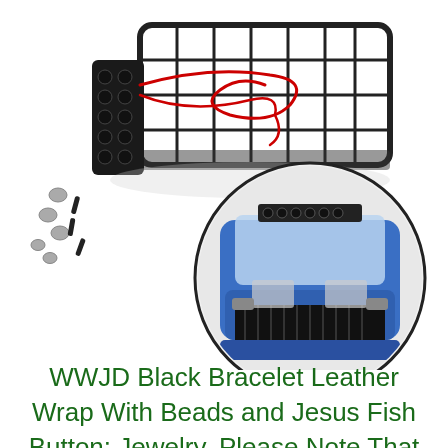[Figure (photo): Product photo showing a black metal roof rack/cargo basket for RC car with LED light bar and red wiring, small screws and nuts beside it, and a circular inset photo of a blue RC truck/car with the roof rack mounted on top showing the front view.]
WWJD Black Bracelet Leather Wrap With Beads and Jesus Fish Button: Jewelry. Please Note That Slight Color